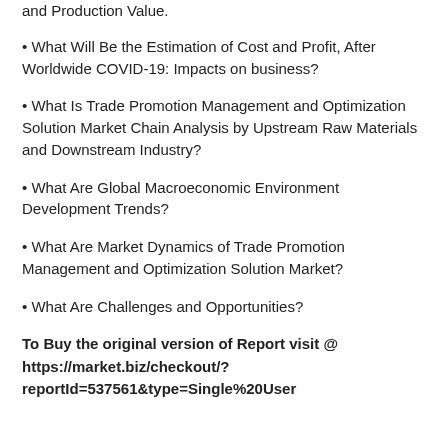and Production Value.
• What Will Be the Estimation of Cost and Profit, After Worldwide COVID-19: Impacts on business?
• What Is Trade Promotion Management and Optimization Solution Market Chain Analysis by Upstream Raw Materials and Downstream Industry?
• What Are Global Macroeconomic Environment Development Trends?
• What Are Market Dynamics of Trade Promotion Management and Optimization Solution Market?
• What Are Challenges and Opportunities?
To Buy the original version of Report visit @ https://market.biz/checkout/?reportId=537561&type=Single%20User